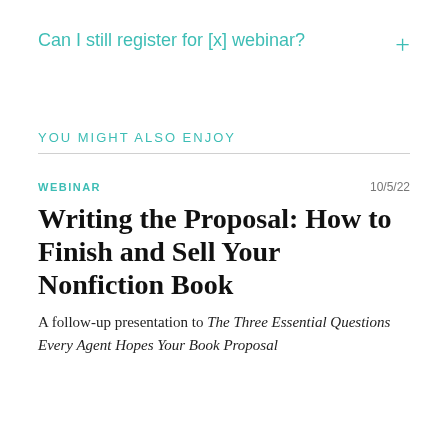Can I still register for [x] webinar?
YOU MIGHT ALSO ENJOY
WEBINAR   10/5/22
Writing the Proposal: How to Finish and Sell Your Nonfiction Book
A follow-up presentation to The Three Essential Questions Every Agent Hopes Your Book Proposal